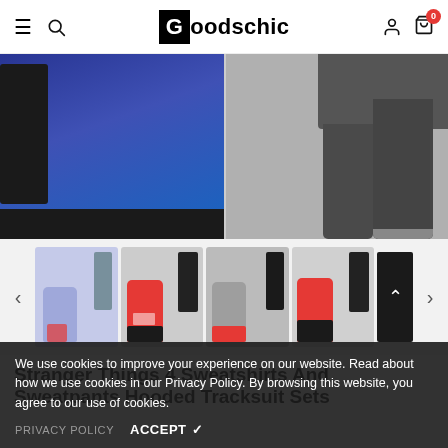Goodschic — navigation header with hamburger menu, search, logo, user icon, and cart (0)
[Figure (photo): Main product image showing a blue and black hoodie sweatshirt on the left and grey/dark sweatpants on the right]
[Figure (photo): Thumbnail row showing 4 product variant images of Stranger Things 4 tracksuit sets in different color combinations: blue/grey, red/black, grey/red, red/black]
Stranger Things 4 Sweatshirts And Sweatpants Hooded Tracksuit Sets
We use cookies to improve your experience on our website. Read about how we use cookies in our Privacy Policy. By browsing this website, you agree to our use of cookies.
PRIVACY POLICY  ACCEPT ✔